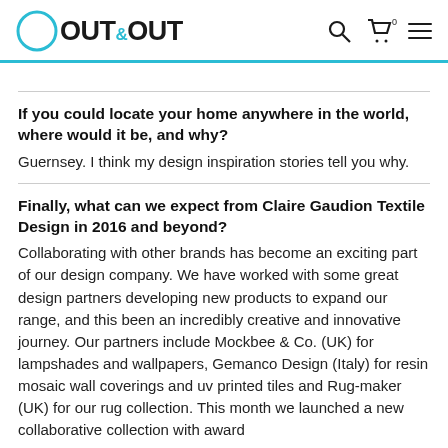OUT&OUT [logo with search, cart, menu icons]
If you could locate your home anywhere in the world, where would it be, and why?
Guernsey. I think my design inspiration stories tell you why.
Finally, what can we expect from Claire Gaudion Textile Design in 2016 and beyond?
Collaborating with other brands has become an exciting part of our design company. We have worked with some great design partners developing new products to expand our range, and this been an incredibly creative and innovative journey. Our partners include Mockbee & Co. (UK) for lampshades and wallpapers, Gemanco Design (Italy) for resin mosaic wall coverings and uv printed tiles and Rug-maker (UK) for our rug collection. This month we launched a new collaborative collection with award